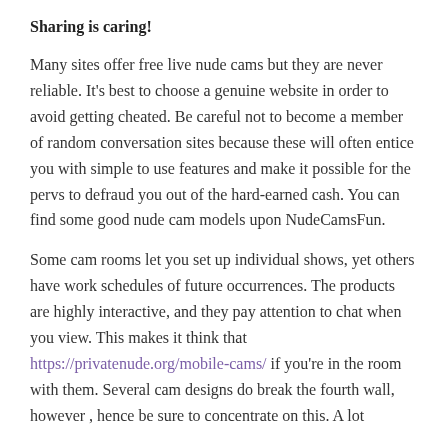Sharing is caring!
Many sites offer free live nude cams but they are never reliable. It's best to choose a genuine website in order to avoid getting cheated. Be careful not to become a member of random conversation sites because these will often entice you with simple to use features and make it possible for the pervs to defraud you out of the hard-earned cash. You can find some good nude cam models upon NudeCamsFun.
Some cam rooms let you set up individual shows, yet others have work schedules of future occurrences. The products are highly interactive, and they pay attention to chat when you view. This makes it think that https://privatenude.org/mobile-cams/ if you're in the room with them. Several cam designs do break the fourth wall, however , hence be sure to concentrate on this. A lot